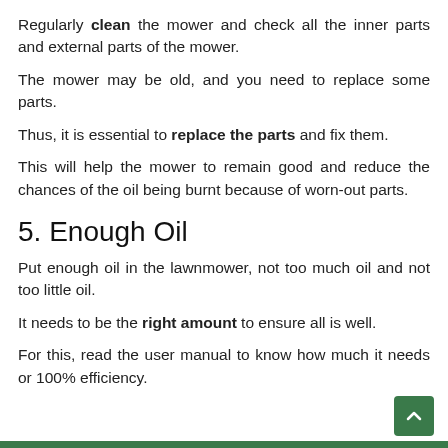Regularly clean the mower and check all the inner parts and external parts of the mower.
The mower may be old, and you need to replace some parts.
Thus, it is essential to replace the parts and fix them.
This will help the mower to remain good and reduce the chances of the oil being burnt because of worn-out parts.
5. Enough Oil
Put enough oil in the lawnmower, not too much oil and not too little oil.
It needs to be the right amount to ensure all is well.
For this, read the user manual to know how much it needs or 100% efficiency.